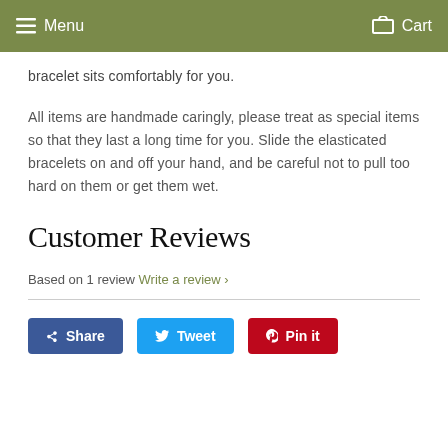Menu   Cart
bracelet sits comfortably for you.
All items are handmade caringly, please treat as special items so that they last a long time for you. Slide the elasticated bracelets on and off your hand, and be careful not to pull too hard on them or get them wet.
Customer Reviews
Based on 1 review  Write a review ›
Share  Tweet  Pin it